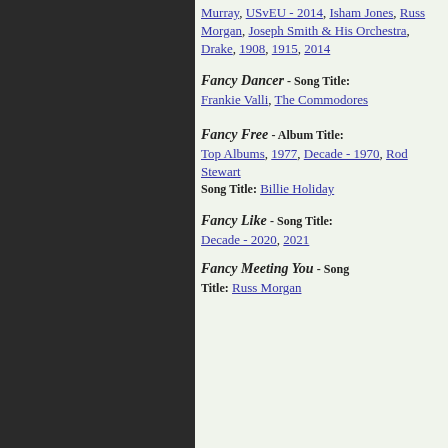Murray, USvEU - 2014, Isham Jones, Russ Morgan, Joseph Smith & His Orchestra, Drake, 1908, 1915, 2014
Fancy Dancer - Song Title: Frankie Valli, The Commodores
Fancy Free - Album Title: Top Albums, 1977, Decade - 1970, Rod Stewart
Song Title: Billie Holiday
Fancy Like - Song Title: Decade - 2020, 2021
Fancy Meeting You - Song Title: Russ Morgan
Far... John 1987 Album... Song... Artist...